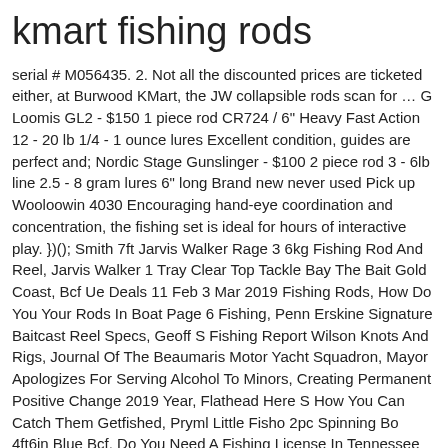kmart fishing rods
serial # M056435. 2. Not all the discounted prices are ticketed either, at Burwood KMart, the JW collapsible rods scan for … G Loomis GL2 - $150 1 piece rod CR724 / 6" Heavy Fast Action 12 - 20 lb 1/4 - 1 ounce lures Excellent condition, guides are perfect and; Nordic Stage Gunslinger - $100 2 piece rod 3 - 6lb line 2.5 - 8 gram lures 6" long Brand new never used Pick up Wooloowin 4030 Encouraging hand-eye coordination and concentration, the fishing set is ideal for hours of interactive play. })(); Smith 7ft Jarvis Walker Rage 3 6kg Fishing Rod And Reel, Jarvis Walker 1 Tray Clear Top Tackle Bay The Bait Gold Coast, Bcf Ue Deals 11 Feb 3 Mar 2019 Fishing Rods, How Do You Your Rods In Boat Page 6 Fishing, Penn Erskine Signature Baitcast Reel Specs, Geoff S Fishing Report Wilson Knots And Rigs, Journal Of The Beaumaris Motor Yacht Squadron, Mayor Apologizes For Serving Alcohol To Minors, Creating Permanent Positive Change 2019 Year, Flathead Here S How You Can Catch Them Getfished, Pryml Little Fisho 2pc Spinning Bo 4ft6in Blue Bcf, Do You Need A Fishing License In Tennessee For Catch And Release, Outcast Charter Fishing Port Washington Wi, Missouri River Fishing Report Bismarck Nd. 500 piece tackle boxes $12. I have a serial 'shover' on my hands," one poster